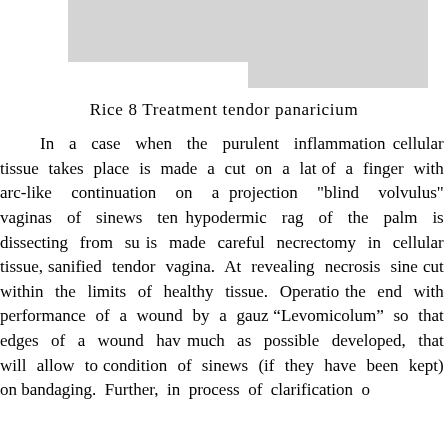[Figure (photo): Gray rectangular image at top of page, partially visible, appears to be a medical illustration or photograph related to tendor panaricium treatment. Image has a notch/cutout on the lower left portion.]
Rice 8 Treatment tendor panaricium
In a case when the purulent inflammation cellular tissue takes place is made a cut on a lateral surface of a finger with arc-like continuation on a palm on projection "blind volvulus" vaginas of sinews ten hypodermic rag of the palm is dissecting from su is made careful necrectomy in cellular tissue, sanified tendor vagina. At revealing necrosis sine cut within the limits of healthy tissue. Operatio the end with performance of a wound by a gauz “Levomicolum” so that edges of a wound hav much as possible developed, that will allow to condition of sinews (if they have been kept) on bandaging. Further, in process of clarification o